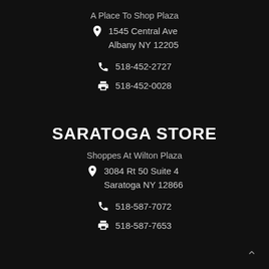A Place To Shop Plaza
1545 Central Ave
Albany NY 12205
518-452-2727
518-452-0028
SARATOGA STORE
Shoppes At Wilton Plaza
3084 Rt 50 Suite 4
Saratoga NY 12866
518-587-7072
518-587-7653